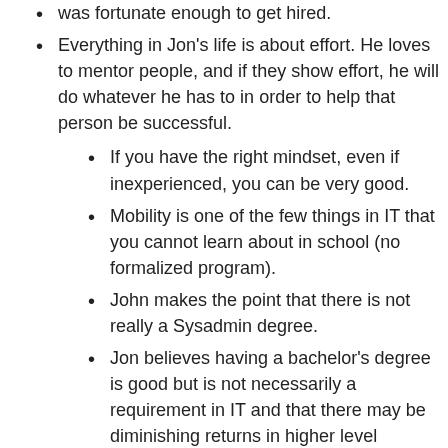Everything in Jon's life is about effort. He loves to mentor people, and if they show effort, he will do whatever he has to in order to help that person be successful.
If you have the right mindset, even if inexperienced, you can be very good.
Mobility is one of the few things in IT that you cannot learn about in school (no formalized program).
John makes the point that there is not really a Sysadmin degree.
Jon believes having a bachelor's degree is good but is not necessarily a requirement in IT and that there may be diminishing returns in higher level degrees.
The last book Jon read for enjoyment was from The Dark Tower series.
Jon wrote about how his brain works in this article